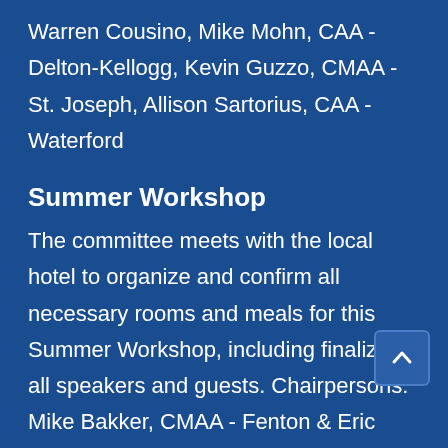Warren Cousino, Mike Mohn, CAA - Delton-Kellogg, Kevin Guzzo, CMAA - St. Joseph, Allison Sartorius, CAA - Waterford
Summer Workshop
The committee meets with the local hotel to organize and confirm all necessary rooms and meals for this Summer Workshop, including finalizing all speakers and guests. Chairpersons: Mike Bakker, CMAA - Fenton & Eric Albright, CAA - Midland